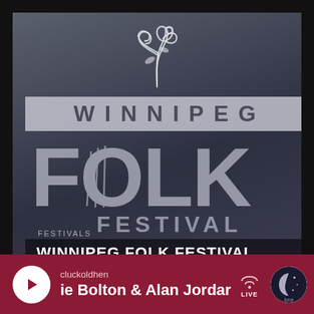[Figure (photo): Winnipeg Folk Festival logo over blurred crowd background. Logo shows decorative flourish at top, 'WINNIPEG' in a semi-transparent banner, large 'FOLK' text with guitar strings through O, and 'FESTIVAL' below. Category label 'FESTIVALS' in small caps. Title bar reads 'WINNIPEG FOLK FESTIVAL'.]
cluckoldhen
ie Bolton & Alan Jordar